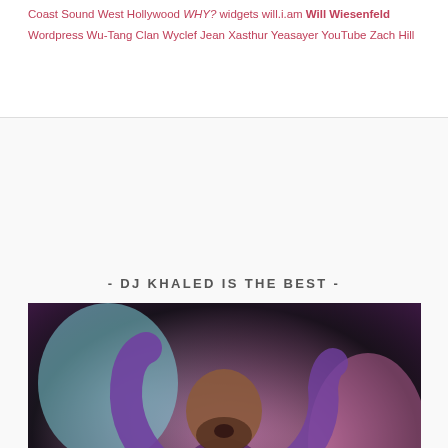Coast Sound West Hollywood WHY? widgets will.i.am Will Wiesenfeld Wordpress Wu-Tang Clan Wyclef Jean Xasthur Yeasayer YouTube Zach Hill
- DJ KHALED IS THE BEST -
[Figure (photo): Photo of DJ Khaled from Billboard magazine, wearing a purple patterned outfit, raising both hands with index fingers pointing up, against a pink/teal background. Billboard logo visible in top left.]